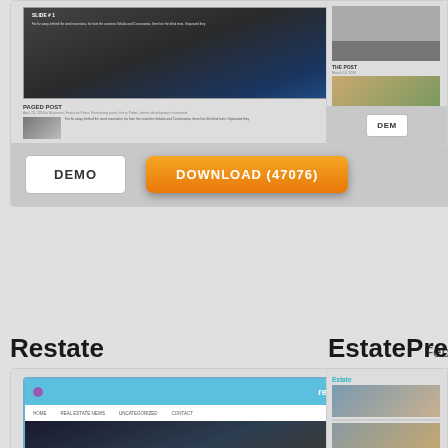[Figure (screenshot): Top partial card showing a WordPress theme demo screenshot with a slider image of a living room and a 'PAGED POST' section with PAGES sidebar. Footer has DEMO button and DOWNLOAD (47076) orange button.]
Restate
February 10, 2016
[Figure (screenshot): Restate WordPress theme screenshot showing a blue header bar with 'restate' logo, navigation menu, and a large hero image of a luxury home exterior with text 'Far far away' and a Read More button. Left and right purple navigation arrows visible.]
DEMO
DOWNLOAD (2623)
EstatePress
[Figure (screenshot): Partial right-side card showing EstatePress theme with photo of real estate property.]